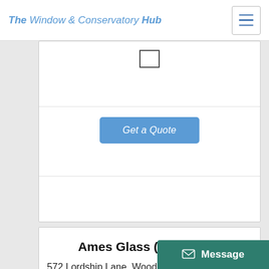The Window & Conservatory Hub
[Figure (screenshot): Partial listing card with checkbox icon and Get a Quote button]
Ames Glass (Contracts)
572 Lordship Lane, Wood Green, London, , N22 5BY
5.4
[Figure (other): Star rating - 2 stars partially shown]
[Figure (screenshot): Approve The Cookies popup - Accept / Decline buttons and Cookie policy link]
[Figure (screenshot): Message button at bottom right]